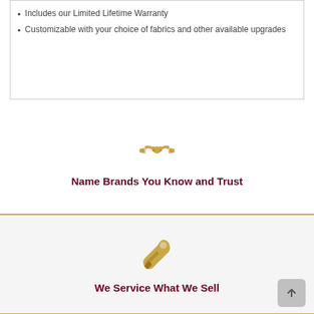Includes our Limited Lifetime Warranty
Customizable with your choice of fabrics and other available upgrades
[Figure (illustration): Golden handshake icon representing name brands partnership]
Name Brands You Know and Trust
[Figure (illustration): Golden wrench icon representing service]
We Service What We Sell